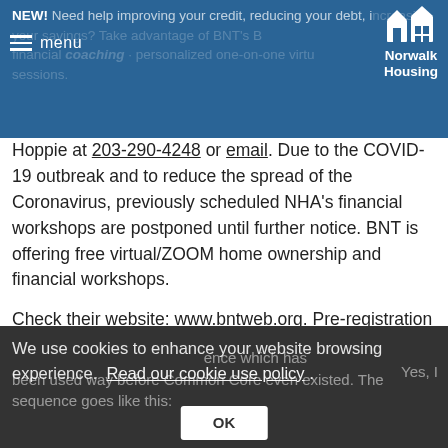NEW! Need help improving your credit, reducing your debt, increasing your savings? Take advantage of BNT's BNT financial coaching - personalized one-on-one virtual sessions.
To schedule an appointment, contact Beverly Hoppie at 203-290-4248 or email. Due to the COVID-19 outbreak and to reduce the spread of the Coronavirus, previously scheduled NHA's financial workshops are postponed until further notice. BNT is offering free virtual/ZOOM home ownership and financial workshops.

Check their website: www.bntweb.org. Pre-registration is required through their website www.bntweb.org for an online home ownership pre-purchase, financial fitness or credit class.
Are you doing it wrong? How to introduce telling time.
We use cookies to enhance your website browsing experience. Read our cookie use policy. Yes, I understand. A sequence which has been used way before Common Core even existed. The sequence goes like this: